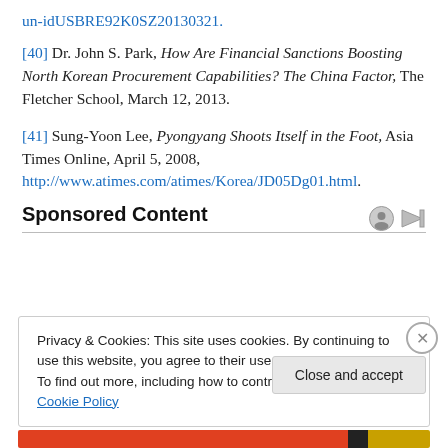un-idUSBRE92K0SZ20130321.
[40] Dr. John S. Park, How Are Financial Sanctions Boosting North Korean Procurement Capabilities? The China Factor, The Fletcher School, March 12, 2013.
[41] Sung-Yoon Lee, Pyongyang Shoots Itself in the Foot, Asia Times Online, April 5, 2008, http://www.atimes.com/atimes/Korea/JD05Dg01.html.
Sponsored Content
Privacy & Cookies: This site uses cookies. By continuing to use this website, you agree to their use.
To find out more, including how to control cookies, see here: Cookie Policy
Close and accept